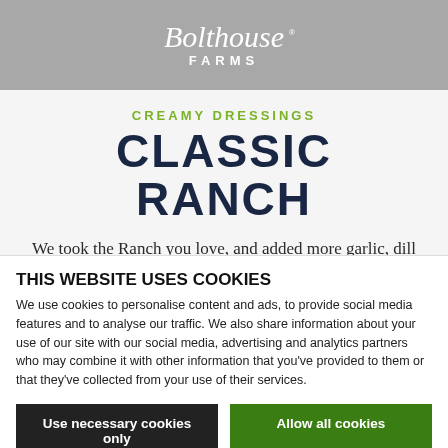[Figure (logo): Bolthouse Farms logo in white text on gray background]
CREAMY DRESSINGS
CLASSIC RANCH
We took the Ranch you love, and added more garlic, dill and buttermilk. The end result, an even richer and creamier Ranch,
THIS WEBSITE USES COOKIES
We use cookies to personalise content and ads, to provide social media features and to analyse our traffic. We also share information about your use of our site with our social media, advertising and analytics partners who may combine it with other information that you've provided to them or that they've collected from your use of their services.
Use necessary cookies only
Allow all cookies
Show details